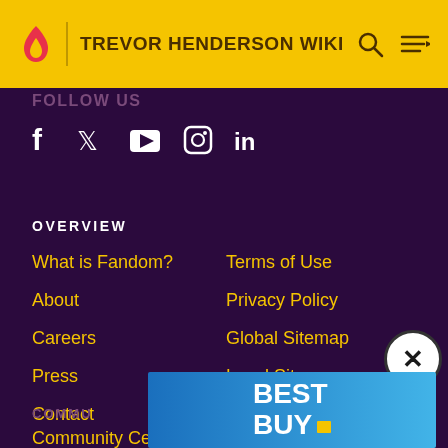TREVOR HENDERSON WIKI
FOLLOW US
[Figure (infographic): Social media icons: Facebook, Twitter, YouTube, Instagram, LinkedIn]
OVERVIEW
What is Fandom?
Terms of Use
About
Privacy Policy
Careers
Global Sitemap
Press
Local Sitemap
Contact
COMMU
Community Central
Help
[Figure (infographic): Best Buy advertisement banner with blue gradient background and white BEST BUY text with yellow tag]